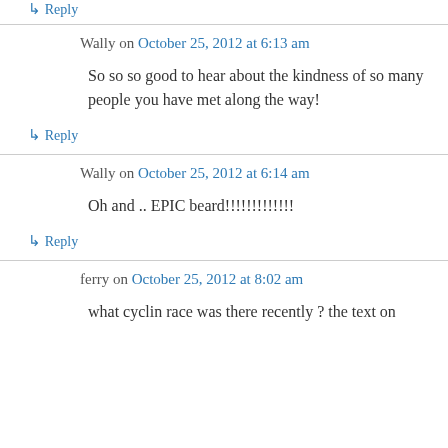↳ Reply
Wally on October 25, 2012 at 6:13 am
So so so good to hear about the kindness of so many people you have met along the way!
↳ Reply
Wally on October 25, 2012 at 6:14 am
Oh and .. EPIC beard!!!!!!!!!!!!!
↳ Reply
ferry on October 25, 2012 at 8:02 am
what cyclin race was there recently ? the text on